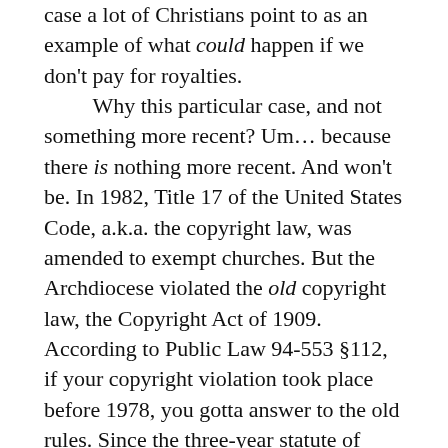case a lot of Christians point to as an example of what could happen if we don't pay for royalties. Why this particular case, and not something more recent? Um... because there is nothing more recent. And won't be. In 1982, Title 17 of the United States Code, a.k.a. the copyright law, was amended to exempt churches. But the Archdiocese violated the old copyright law, the Copyright Act of 1909. According to Public Law 94-553 §112, if your copyright violation took place before 1978, you gotta answer to the old rules. Since the three-year statute of limitations for all those cases ran out by 1981, the Archdiocese lawsuit serves as a